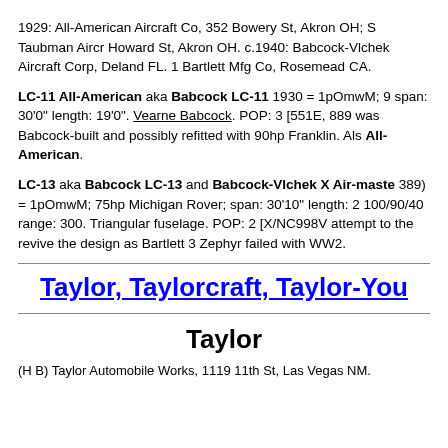1929: All-American Aircraft Co, 352 Bowery St, Akron OH; S Taubman Aircr Howard St, Akron OH. c.1940: Babcock-Vlchek Aircraft Corp, Deland FL. 1 Bartlett Mfg Co, Rosemead CA.
LC-11 All-American aka Babcock LC-11 1930 = 1pOmwM; 9 span: 30'0" length: 19'0". Vearne Babcock. POP: 3 [551E, 889 was Babcock-built and possibly refitted with 90hp Franklin. Als All-American.
LC-13 aka Babcock LC-13 and Babcock-Vlchek X Air-maste 389) = 1pOmwM; 75hp Michigan Rover; span: 30'10" length: 2 100/90/40 range: 300. Triangular fuselage. POP: 2 [X/NC998V attempt to the revive the design as Bartlett 3 Zephyr failed with WW2.
Taylor, Taylorcraft, Taylor-You
Taylor
(H B) Taylor Automobile Works, 1119 11th St, Las Vegas NM.